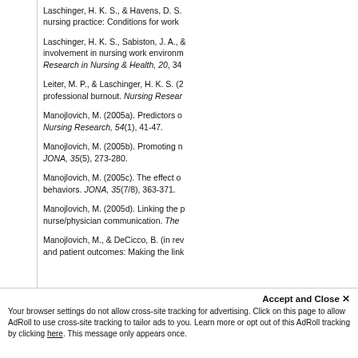Laschinger, H. K. S., & Havens, D. S. … nursing practice: Conditions for work…
Laschinger, H. K. S., Sabiston, J. A., … involvement in nursing work environm… Research in Nursing & Health, 20, 34…
Leiter, M. P., & Laschinger, H. K. S. (2… professional burnout. Nursing Resear…
Manojlovich, M. (2005a). Predictors o… Nursing Research, 54(1), 41-47.
Manojlovich, M. (2005b). Promoting n… JONA, 35(5), 273-280.
Manojlovich, M. (2005c). The effect o… behaviors. JONA, 35(7/8), 363-371.
Manojlovich, M. (2005d). Linking the p… nurse/physician communication. The…
Manojlovich, M., & DeCicco, B. (in rev… and patient outcomes: Making the link…
Accept and Close ✕
Your browser settings do not allow cross-site tracking for advertising. Click on this page to allow AdRoll to use cross-site tracking to tailor ads to you. Learn more or opt out of this AdRoll tracking by clicking here. This message only appears once.